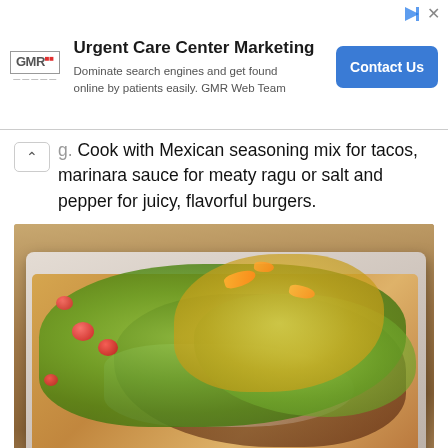[Figure (infographic): Advertisement banner for Urgent Care Center Marketing by GMR Web Team. Text: 'Urgent Care Center Marketing — Dominate search engines and get found online by patients easily. GMR Web Team'. Blue button: 'Contact Us'.]
g. Cook with Mexican seasoning mix for tacos, marinara sauce for meaty ragu or salt and pepper for juicy, flavorful burgers.
[Figure (photo): A large plate of loaded nachos topped with ground meat, shredded lettuce, cherry tomatoes, orange peppers, corn salsa, and cilantro on a wooden surface.]